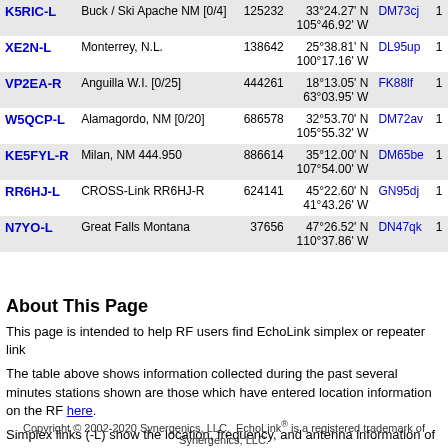| Callsign | Location | Node | Coordinates | Grid |  |
| --- | --- | --- | --- | --- | --- |
| K5RIC-L | Buck / Ski Apache NM [0/4] | 125232 | 33°24.27' N 105°46.92' W | DM73cj | 1 |
| XE2N-L | Monterrey, N.L. | 138642 | 25°38.81' N 100°17.16' W | DL95up | 1 |
| VP2EA-R | Anguilla W.I. [0/25] | 444261 | 18°13.05' N 63°03.95' W | FK88lf | 1 |
| W5QCP-L | Alamagordo, NM [0/20] | 686578 | 32°53.70' N 105°55.32' W | DM72av | 1 |
| KE5FYL-R | Milan, NM 444.950 | 886614 | 35°12.00' N 107°54.00' W | DM65be | 1 |
| RR6HJ-L | CROSS-Link RR6HJ-R | 624141 | 45°22.60' N 41°43.26' W | GN95dj | 1 |
| N7YO-L | Great Falls Montana | 37656 | 47°26.52' N 110°37.86' W | DN47qk | 1 |
About This Page
This page is intended to help RF users find EchoLink simplex or repeater link
The table above shows information collected during the past several minutes stations shown are those which have entered location information on the RF here.
Simplex links (-L) show the location, frequency, and antenna information of th antenna information of the repeater it serves. The values in the Power, HAAT
Copyright © 2002-2020 Synergenics, LLC.  EchoLink® is a registered trademark of Synergenics, LLC.